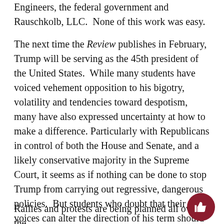Engineers, the federal government and Rauschkolb, LLC. None of this work was easy.
The next time the Review publishes in February, Trump will be serving as the 45th president of the United States. While many students have voiced vehement opposition to his bigotry, volatility and tendencies toward despotism, many have also expressed uncertainty at how to make a difference. Particularly with Republicans in control of both the House and Senate, and a likely conservative majority in the Supreme Court, it seems as if nothing can be done to stop Trump from carrying out regressive, dangerous policies. But students who doubt that their voices can alter the direction of his term should look to the Standing Rock Sioux as evidence that protest still works, no matter how grueling the process.
Rallies and protests are being planned all over the